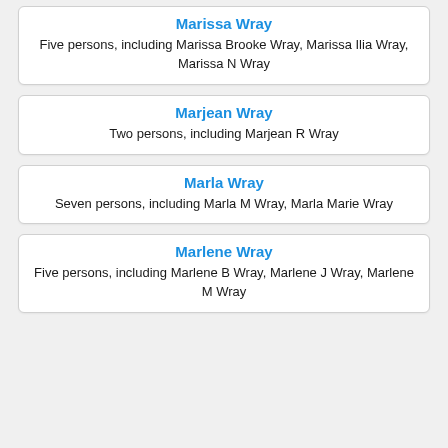Marissa Wray
Five persons, including Marissa Brooke Wray, Marissa Ilia Wray, Marissa N Wray
Marjean Wray
Two persons, including Marjean R Wray
Marla Wray
Seven persons, including Marla M Wray, Marla Marie Wray
Marlene Wray
Five persons, including Marlene B Wray, Marlene J Wray, Marlene M Wray